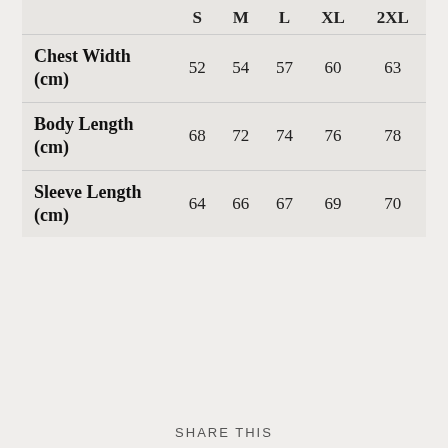|  | S | M | L | XL | 2XL |
| --- | --- | --- | --- | --- | --- |
| Chest Width (cm) | 52 | 54 | 57 | 60 | 63 |
| Body Length (cm) | 68 | 72 | 74 | 76 | 78 |
| Sleeve Length (cm) | 64 | 66 | 67 | 69 | 70 |
SHARE THIS